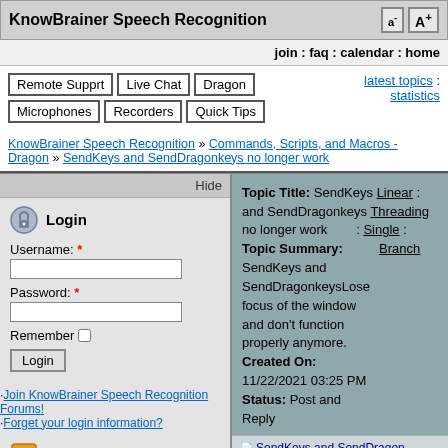KnowBrainer Speech Recognition
join : faq : calendar : home
Remote Supprt | Live Chat | Dragon | Microphones | Recorders | Quick Tips
latest topics : statistics
KnowBrainer Speech Recognition » Commands, Scripts, and Macros - Dragon » SendKeys and SendDragonkeys no longer work
Hide
Login
Username: *
Password: *
Remember
Login
·Join KnowBrainer Speech Recognition Forums!
·Forget your login information?
Categories
KnowBrainer Software and Support
Topic Title: SendKeys Linear : and SendDragonkeys Threading no longer work : Single : Topic Summary: Branch SendKeys and SendDragonkeysLose focus of the window and don't function properly anymore. Created On: 11/22/2021 03:25 PM Status: Post and Reply
SendKeys and SendDragon...
SendKeys and SendDrago...
SendKeys and SendDra...
SendKeys and SendDrago...
SendKeys and SendDrago...